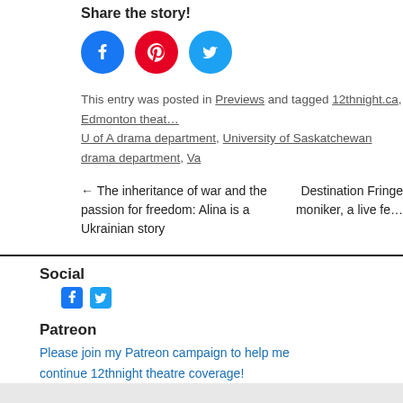Share the story!
[Figure (illustration): Three social media share buttons: Facebook (blue circle), Pinterest (red circle), Twitter (light blue circle)]
This entry was posted in Previews and tagged 12thnight.ca, Edmonton theatre, U of A drama department, University of Saskatchewan drama department, Va…
← The inheritance of war and the passion for freedom: Alina is a Ukrainian story     Destination Fringe moniker, a live fe…
Social
[Figure (illustration): Small Facebook and Twitter icons in blue]
Patreon
Please join my Patreon campaign to help me continue 12thnight theatre coverage!
12thNight.ca